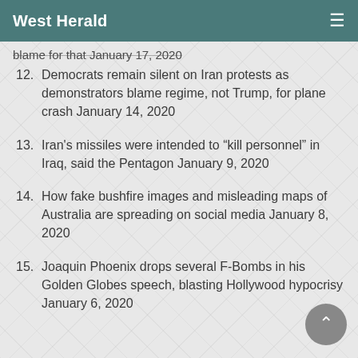West Herald
blams for that January 17, 2020
Democrats remain silent on Iran protests as demonstrators blame regime, not Trump, for plane crash January 14, 2020
Iran's missiles were intended to "kill personnel" in Iraq, said the Pentagon January 9, 2020
How fake bushfire images and misleading maps of Australia are spreading on social media January 8, 2020
Joaquin Phoenix drops several F-Bombs in his Golden Globes speech, blasting Hollywood hypocrisy January 6, 2020